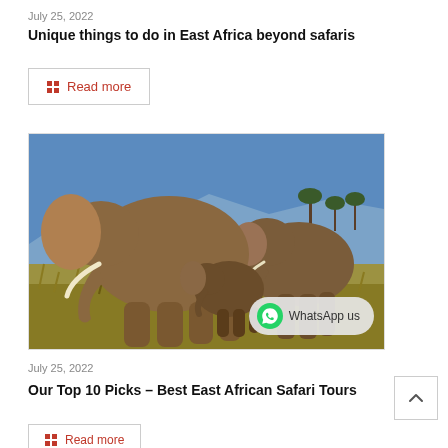July 25, 2022
Unique things to do in East Africa beyond safaris
Read more
[Figure (photo): A herd of elephants including adults and a baby elephant walking through golden savanna grassland with acacia trees and blue sky in the background. A WhatsApp us badge is overlaid in the bottom-right corner.]
July 25, 2022
Our Top 10 Picks – Best East African Safari Tours
Read more